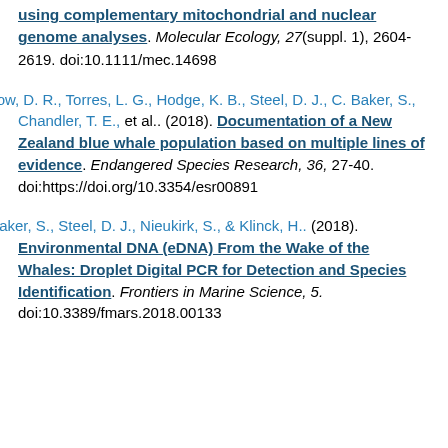using complementary mitochondrial and nuclear genome analyses. Molecular Ecology, 27(suppl. 1), 2604-2619. doi:10.1111/mec.14698
Barlow, D. R., Torres, L. G., Hodge, K. B., Steel, D. J., C. Baker, S., Chandler, T. E., et al.. (2018). Documentation of a New Zealand blue whale population based on multiple lines of evidence. Endangered Species Research, 36, 27-40. doi:https://doi.org/10.3354/esr00891
C. Baker, S., Steel, D. J., Nieukirk, S., & Klinck, H.. (2018). Environmental DNA (eDNA) From the Wake of the Whales: Droplet Digital PCR for Detection and Species Identification. Frontiers in Marine Science, 5. doi:10.3389/fmars.2018.00133